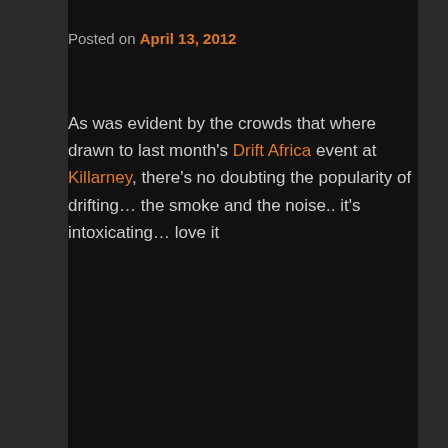Posted on April 13, 2012
As was evident by the crowds that where drawn to last month's Drift Africa event at Killarney, there's no doubting the popularity of drifting… the smoke and the noise.. it's intoxicating… love it